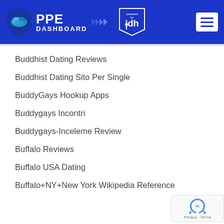[Figure (logo): PPE Dashboard header with shield logo, 'powered by idh' badge, and hamburger menu button on blue background]
Buddhist Dating Reviews
Buddhist Dating Sito Per Single
BuddyGays Hookup Apps
Buddygays Incontri
Buddygays-Inceleme Review
Buffalo Reviews
Buffalo USA Dating
Buffalo+NY+New York Wikipedia Reference